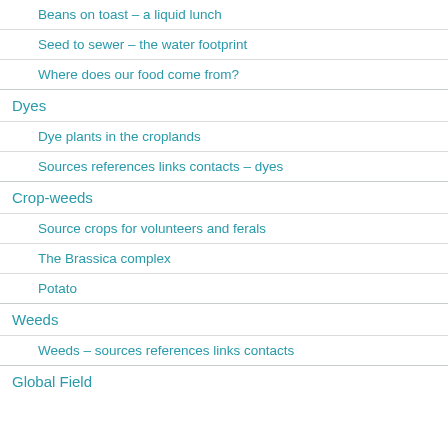Beans on toast – a liquid lunch
Seed to sewer – the water footprint
Where does our food come from?
Dyes
Dye plants in the croplands
Sources references links contacts – dyes
Crop-weeds
Source crops for volunteers and ferals
The Brassica complex
Potato
Weeds
Weeds – sources references links contacts
Global Field